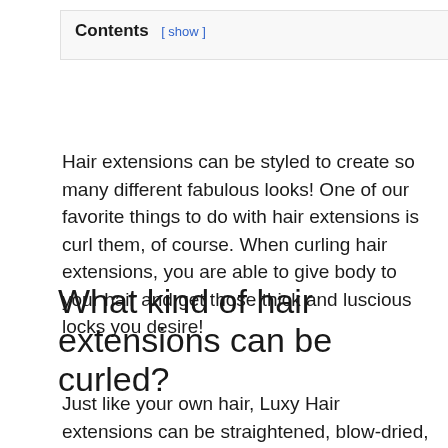Contents [ show ]
Hair extensions can be styled to create so many different fabulous looks! One of our favorite things to do with hair extensions is curl them, of course. When curling hair extensions, you are able to give body to your hair and get those thick and luscious locks you desire!
What kind of hair extensions can be curled?
Just like your own hair, Luxy Hair extensions can be straightened, blow-dried, styled and curled. In order to preserve and extend the